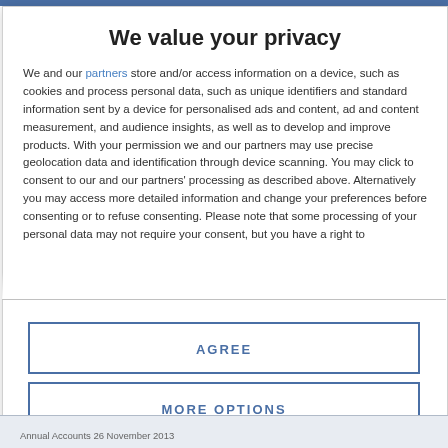We value your privacy
We and our partners store and/or access information on a device, such as cookies and process personal data, such as unique identifiers and standard information sent by a device for personalised ads and content, ad and content measurement, and audience insights, as well as to develop and improve products. With your permission we and our partners may use precise geolocation data and identification through device scanning. You may click to consent to our and our partners' processing as described above. Alternatively you may access more detailed information and change your preferences before consenting or to refuse consenting. Please note that some processing of your personal data may not require your consent, but you have a right to
AGREE
MORE OPTIONS
Annual Accounts 26 November 2013